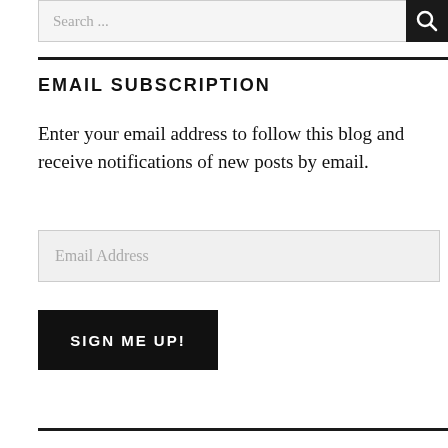[Figure (screenshot): Search bar with text input field showing placeholder text 'Search ...' and a black search button with magnifying glass icon]
EMAIL SUBSCRIPTION
Enter your email address to follow this blog and receive notifications of new posts by email.
[Figure (screenshot): Email Address input field with placeholder text 'Email Address']
[Figure (screenshot): Black button with white text 'SIGN ME UP!']